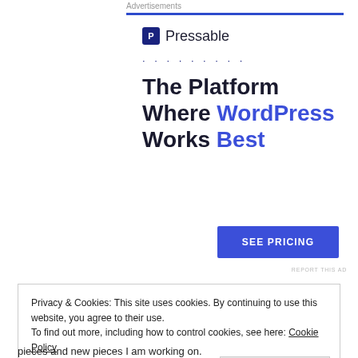Advertisements
[Figure (logo): Pressable logo with blue P icon and dotted separator line]
The Platform Where WordPress Works Best
SEE PRICING
REPORT THIS AD
Privacy & Cookies: This site uses cookies. By continuing to use this website, you agree to their use.
To find out more, including how to control cookies, see here: Cookie Policy
Close and accept
pieces and new pieces I am working on.